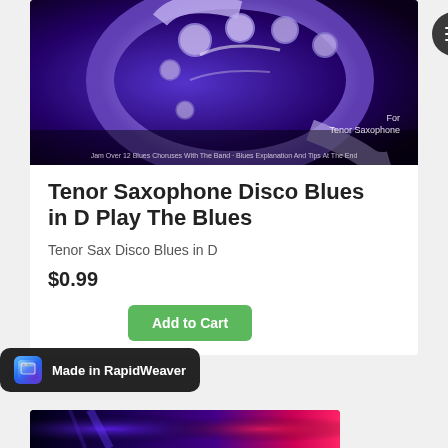[Figure (photo): Close-up photo of a saxophone lit with purple/blue lighting on a dark background. Text overlay: 'For Tenor Saxophone' bottom right. Bottom text: 'Jam Over 12 Blues Choruses With The Band · Blues Explanation And Tips At The End']
Tenor Saxophone Disco Blues in D Play The Blues
Tenor Sax Disco Blues in D
$0.99
Add to Cart
[Figure (screenshot): Made in RapidWeaver badge with app icon]
[Figure (photo): Partial bottom image strip with colorful lighting]